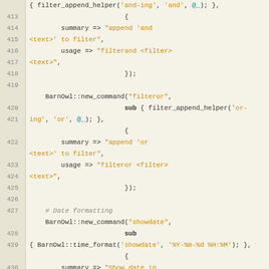[Figure (screenshot): Source code listing in Perl/BarnOwl style, lines 413-436, showing filter_append_helper, BarnOwl::new_command for filteror, showdate, and hidedate commands, with syntax highlighting on a beige background.]